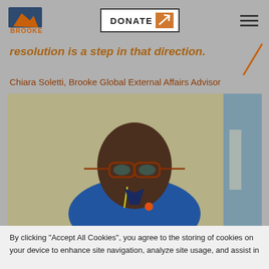Brooke – DONATE navigation header
resolution is a step in that direction.
Chiara Soletti, Brooke Global External Affairs Advisor
[Figure (photo): Headshot of a man wearing glasses and a blue blazer with a lanyard, photographed against a yellow wall backdrop.]
By clicking "Accept All Cookies", you agree to the storing of cookies on your device to enhance site navigation, analyze site usage, and assist in